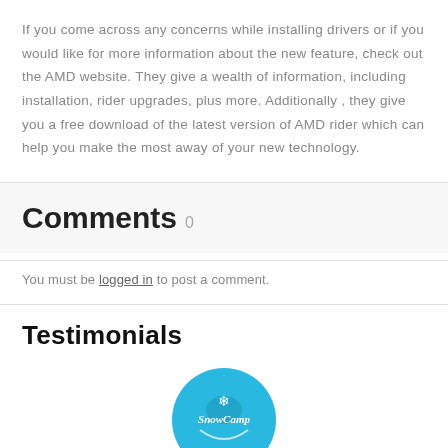If you come across any concerns while installing drivers or if you would like for more information about the new feature, check out the AMD website. They give a wealth of information, including installation, rider upgrades, plus more. Additionally , they give you a free download of the latest version of AMD rider which can help you make the most away of your new technology.
Comments 0
You must be logged in to post a comment.
Testimonials
[Figure (logo): SnowCamp circular logo in cyan/turquoise blue with stylized text]